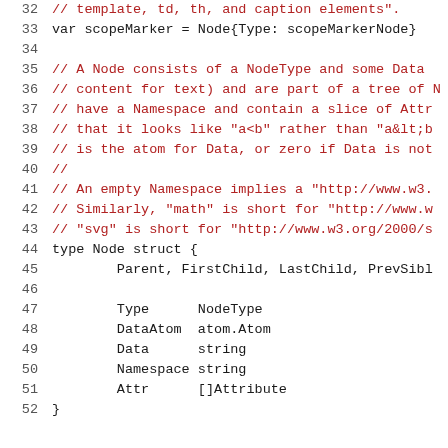32  // template, td, th, and caption elements".
33  var scopeMarker = Node{Type: scopeMarkerNode}
34
35  // A Node consists of a NodeType and some Data
36  // content for text) and are part of a tree of N
37  // have a Namespace and contain a slice of Attr
38  // that it looks like "a<b" rather than "a&lt;b
39  // is the atom for Data, or zero if Data is not
40  //
41  // An empty Namespace implies a "http://www.w3.
42  // Similarly, "math" is short for "http://www.w
43  // "svg" is short for "http://www.w3.org/2000/s
44  type Node struct {
45      Parent, FirstChild, LastChild, PrevSibl
46
47      Type      NodeType
48      DataAtom  atom.Atom
49      Data      string
50      Namespace string
51      Attr      []Attribute
52  }